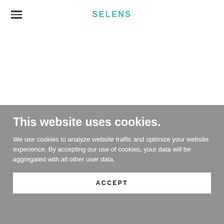[Figure (logo): Selens logo in teal/green color, centered in the header navigation bar]
This website uses cookies.
We use cookies to analyze website traffic and optimize your website experience. By accepting our use of cookies, your data will be aggregated with all other user data.
ACCEPT